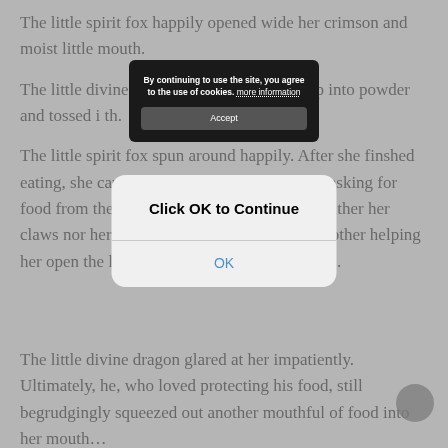The little spirit fox happily opened wide her crimson and moist little mouth.
The little divine dragon a[...] phoenix tail whip into powder and tossed i[...] th.
The little spirit fox spun around happily. After she finished eating, she carried out her act again, pitifully asking for food from the little divine dragon. Because neither her claws nor her teeth could do it, without big brother helping her open the lid, she wouldn't be able to eat it...
[Figure (screenshot): Cookie consent banner overlay: dark background box with text 'By continuing to use the site, you agree to the use of cookies. more information' and an Accept button.]
[Figure (screenshot): iOS-style dialog box with text 'Click OK to Continue' and a blue 'OK' button at the bottom.]
The little divine dragon glared at her impatiently. Ultimately, he, who loved protecting his food, still begrudgingly squeezed out another mouthful of food into her mouth…
The interaction between the two little spirit pets were extremely human-like. Seeing their adorable and cute behaviour, Mo Yunqing was nearly dumbfounded.